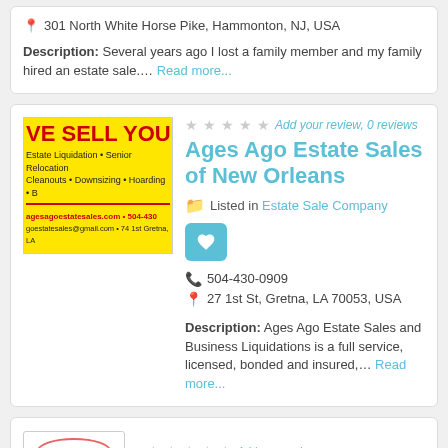301 North White Horse Pike, Hammonton, NJ, USA
Description: Several years ago I lost a family member and my family hired an estate sale.... Read more...
[Figure (illustration): Ages Ago Estate Sales advertisement banner with yellow background, red bold text 'E SELL YOUR STUF', and listing Estate Liquidation, Senior Relocation, Cleanouts, Downsizing, Hoarding contact details including agesagoestatesales.com, 504-430, and address 74 1st Gretna, LA]
Add your review, 0 reviews
Ages Ago Estate Sales of New Orleans
Listed in Estate Sale Company
504-430-0909
27 1st St, Gretna, LA 70053, USA
Description: Ages Ago Estate Sales and Business Liquidations is a full service, licensed, bonded and insured,... Read more...